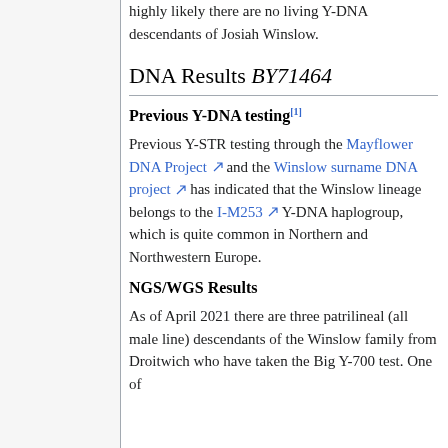highly likely there are no living Y-DNA descendants of Josiah Winslow.
DNA Results BY71464
Previous Y-DNA testing[1]
Previous Y-STR testing through the Mayflower DNA Project and the Winslow surname DNA project has indicated that the Winslow lineage belongs to the I-M253 Y-DNA haplogroup, which is quite common in Northern and Northwestern Europe.
NGS/WGS Results
As of April 2021 there are three patrilineal (all male line) descendants of the Winslow family from Droitwich who have taken the Big Y-700 test. One of